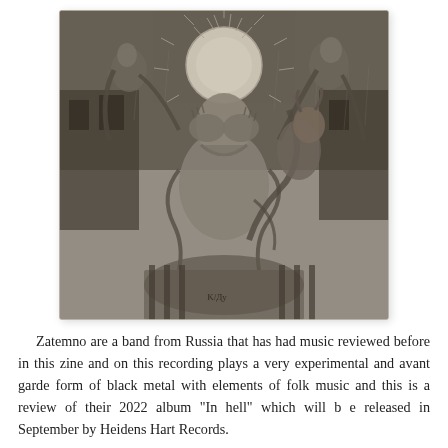[Figure (illustration): Black and white detailed illustration showing dark, grotesque figures — skeletal and demonic creatures surrounding a central figure of an old bearded man covering his face with his hands. A radiating sun or moon circle is visible at the top center. The style is intricate pen-and-ink or engraving-style artwork, typical of black metal album cover art. Text 'K/Дy' or similar is visible at the bottom center of the image.]
Zatemno are a band from Russia that has had music reviewed before in this zine and on this recording plays a very experimental and avant garde form of black metal with elements of folk music and this is a review of their 2022 album "In hell" which will b e released in September by Heidens Hart Records.